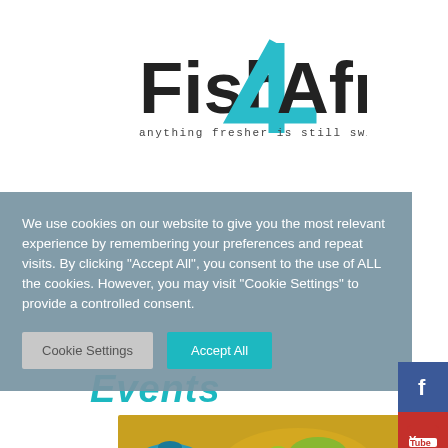[Figure (logo): Fish4Africa logo with tagline 'anything fresher is still swimming']
We use cookies on our website to give you the most relevant experience by remembering your preferences and repeat visits. By clicking “Accept All”, you consent to the use of ALL the cookies. However, you may visit “Cookie Settings” to provide a controlled consent.
Cookie Settings
Accept All
Events
[Figure (photo): A Le Creuset pot with food dish, curry or stew with vegetables]
[Figure (logo): Facebook social media icon]
[Figure (logo): YouTube social media icon]
[Figure (logo): Instagram social media icon]
[Figure (logo): WhatsApp social media icon]